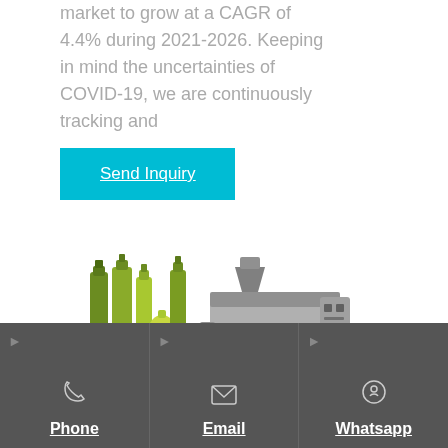market to grow at a CAGR of 4.4% during 2021-2026. Keeping in mind the uncertainties of COVID-19, we are continuously tracking and
Send Inquiry
[Figure (photo): Photo of olive oil bottles next to an industrial oil pressing/extraction machine]
Phone | Email | Whatsapp